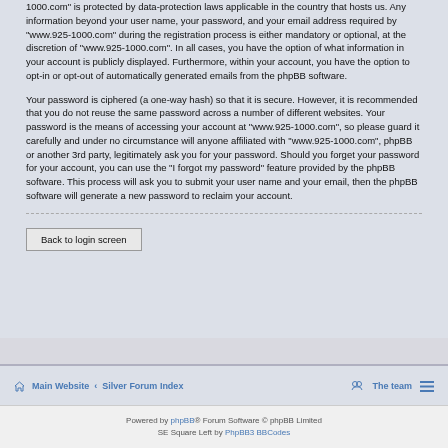1000.com" is protected by data-protection laws applicable in the country that hosts us. Any information beyond your user name, your password, and your email address required by "www.925-1000.com" during the registration process is either mandatory or optional, at the discretion of "www.925-1000.com". In all cases, you have the option of what information in your account is publicly displayed. Furthermore, within your account, you have the option to opt-in or opt-out of automatically generated emails from the phpBB software.
Your password is ciphered (a one-way hash) so that it is secure. However, it is recommended that you do not reuse the same password across a number of different websites. Your password is the means of accessing your account at "www.925-1000.com", so please guard it carefully and under no circumstance will anyone affiliated with "www.925-1000.com", phpBB or another 3rd party, legitimately ask you for your password. Should you forget your password for your account, you can use the "I forgot my password" feature provided by the phpBB software. This process will ask you to submit your user name and your email, then the phpBB software will generate a new password to reclaim your account.
Back to login screen
Main Website · Silver Forum Index   The team  ≡
Powered by phpBB® Forum Software © phpBB Limited SE Square Left by PhpBB3 BBCodes